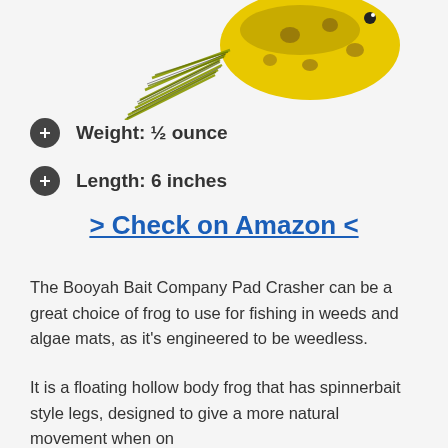[Figure (photo): Fishing lure frog with yellow spotted body and yellow-green skirt legs]
Weight: ½ ounce
Length: 6 inches
> Check on Amazon <
The Booyah Bait Company Pad Crasher can be a great choice of frog to use for fishing in weeds and algae mats, as it's engineered to be weedless.
It is a floating hollow body frog that has spinnerbait style legs, designed to give a more natural movement when on the...